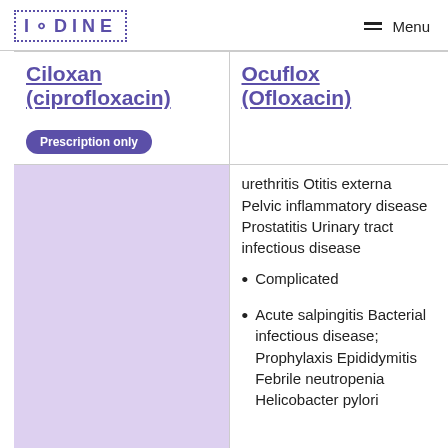IODINE  Menu
| Ciloxan (ciprofloxacin) | Ocuflox (Ofloxacin) |
| --- | --- |
| Prescription only |  |
|  | urethritis Otitis externa Pelvic inflammatory disease Prostatitis Urinary tract infectious disease
• Complicated
• Acute salpingitis Bacterial infectious disease; Prophylaxis Epididymitis Febrile neutropenia Helicobacter pylori ... |